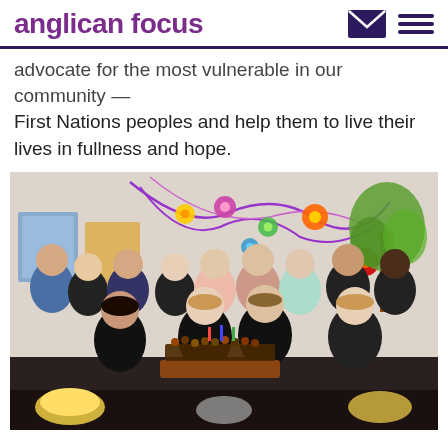anglican focus
advocate for the most vulnerable in our community — First Nations peoples and help them to live their lives in fullness and hope.
[Figure (photo): Group photo of approximately 13 people, most wearing black t-shirts with a logo, standing together indoors. Two people in the front row are holding a cake on a wooden board. The background features colourful paper flower decorations and a painted tree mural on the wall. A table with food is visible in the foreground.]